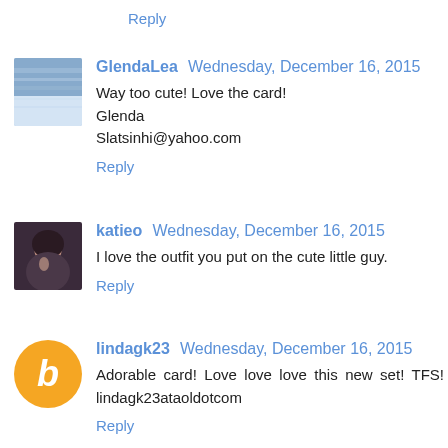Reply
GlendaLea  Wednesday, December 16, 2015
Way too cute! Love the card!
Glenda
Slatsinhi@yahoo.com
Reply
katieo  Wednesday, December 16, 2015
I love the outfit you put on the cute little guy.
Reply
lindagk23  Wednesday, December 16, 2015
Adorable card! Love love love this new set! TFS! lindagk23ataoldotcom
Reply